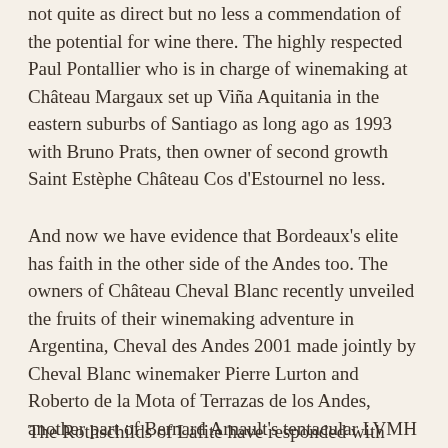not quite as direct but no less a commendation of the potential for wine there. The highly respected Paul Pontallier who is in charge of winemaking at Château Margaux set up Viña Aquitania in the eastern suburbs of Santiago as long ago as 1993 with Bruno Prats, then owner of second growth Saint Estèphe Château Cos d'Estournel no less.
And now we have evidence that Bordeaux's elite has faith in the other side of the Andes too. The owners of Château Cheval Blanc recently unveiled the fruits of their winemaking adventure in Argentina, Cheval des Andes 2001 made jointly by Cheval Blanc winemaker Pierre Lurton and Roberto de la Mota of Terrazas de los Andes, another part of Bernard Arnault's tentacular LVMH empire.
The Rothschilds of Lafite have responded with another